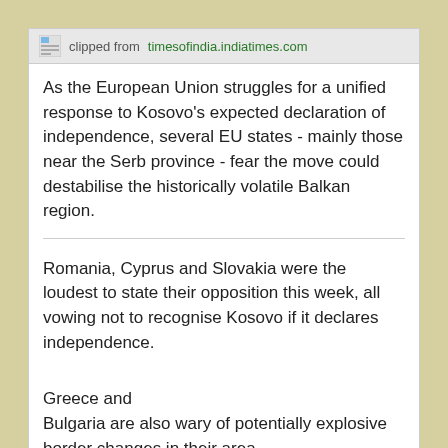clipped from timesofindia.indiatimes.com
As the European Union struggles for a unified response to Kosovo's expected declaration of independence, several EU states - mainly those near the Serb province - fear the move could destabilise the historically volatile Balkan region.
Romania, Cyprus and Slovakia were the loudest to state their opposition this week, all vowing not to recognise Kosovo if it declares independence.
Greece and Bulgaria are also wary of potentially explosive border changes in their area